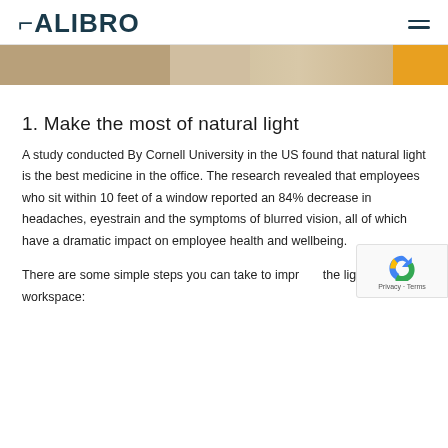CALIBRO
[Figure (photo): Partial view of an interior space with wooden floor and a yellow/orange decorative element on the right.]
1. Make the most of natural light
A study conducted By Cornell University in the US found that natural light is the best medicine in the office. The research revealed that employees who sit within 10 feet of a window reported an 84% decrease in headaches, eyestrain and the symptoms of blurred vision, all of which have a dramatic impact on employee health and wellbeing.
There are some simple steps you can take to improve the lighting in your workspace: